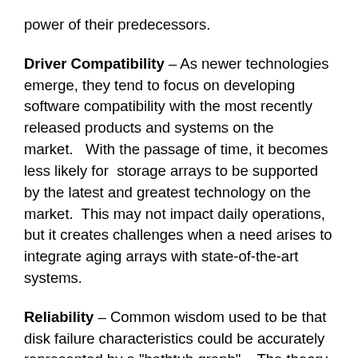power of their predecessors.
Driver Compatibility – As newer technologies emerge, they tend to focus on developing software compatibility with the most recently released products and systems on the market.   With the passage of time, it becomes less likely for  storage arrays to be supported by the latest and greatest technology on the market.  This may not impact daily operations, but it creates challenges when a need arises to integrate aging arrays with state-of-the-art systems.
Reliability – Common wisdom used to be that disk failure characteristics could be accurately represented by a "bathtub graph".   The theory was the potential for failure was high when a disk was new.  It then flattened out at a low probability throughout the disk's useful life, then took a